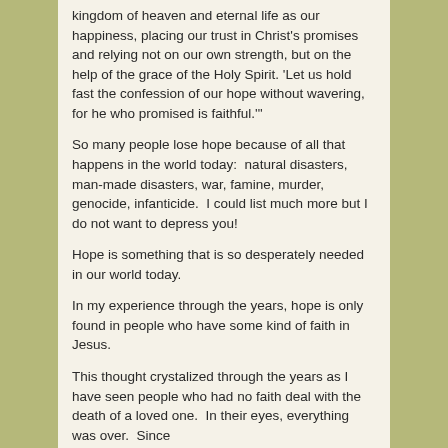kingdom of heaven and eternal life as our happiness, placing our trust in Christ's promises and relying not on our own strength, but on the help of the grace of the Holy Spirit. 'Let us hold fast the confession of our hope without wavering, for he who promised is faithful.'"
So many people lose hope because of all that happens in the world today:  natural disasters, man-made disasters, war, famine, murder, genocide, infanticide.  I could list much more but I do not want to depress you!
Hope is something that is so desperately needed in our world today.
In my experience through the years, hope is only found in people who have some kind of faith in Jesus.
This thought crystalized through the years as I have seen people who had no faith deal with the death of a loved one.  In their eyes, everything was over.  Since they are gone, of no more time, there would be…